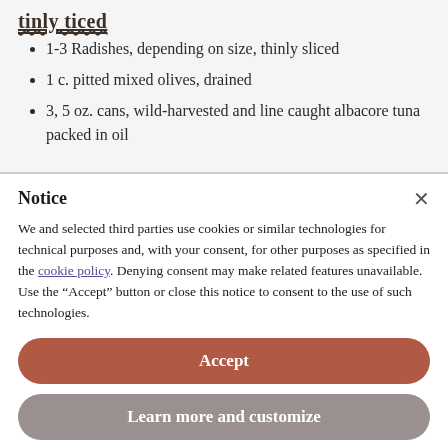tinly ticed
1-3 Radishes, depending on size, thinly sliced
1 c. pitted mixed olives, drained
3, 5 oz. cans, wild-harvested and line caught albacore tuna packed in oil
Notice
We and selected third parties use cookies or similar technologies for technical purposes and, with your consent, for other purposes as specified in the cookie policy. Denying consent may make related features unavailable.
Use the "Accept" button or close this notice to consent to the use of such technologies.
Accept
Learn more and customize